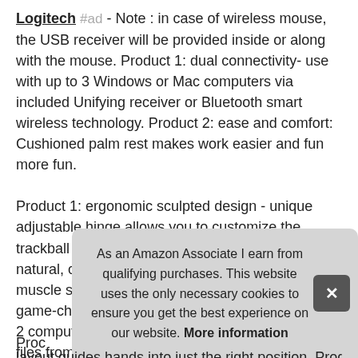Logitech #ad - Note : in case of wireless mouse, the USB receiver will be provided inside or along with the mouse. Product 1: dual connectivity- use with up to 3 Windows or Mac computers via included Unifying receiver or Bluetooth smart wireless technology. Product 2: ease and comfort: Cushioned palm rest makes work easier and fun more fun.

Product 1: ergonomic sculpted design - unique adjustable hinge allows you to customize the trackball angle from 0 to 20 degrees for a more natural, comfortable hand position, and reduced muscle strain. Product 1: cross-computer control-game-changing capacity to navigate seamlessly on 2 computers, images, and copy-paste text, and files from one to the other using intuitive fl...
As an Amazon Associate I earn from qualifying purchases. This website uses the only necessary cookies to ensure you get the best experience on our website. More information
Prod... layout guides hands into just the right position. Product 2: